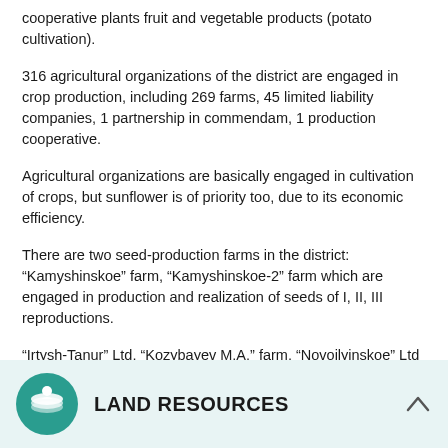cooperative plants fruit and vegetable products (potato cultivation).
316 agricultural organizations of the district are engaged in crop production, including 269 farms, 45 limited liability companies, 1 partnership in commendam, 1 production cooperative.
Agricultural organizations are basically engaged in cultivation of crops, but sunflower is of priority too, due to its economic efficiency.
There are two seed-production farms in the district: “Kamyshinskoe” farm, “Kamyshinskoe-2” farm which are engaged in production and realization of seeds of I, II, III reproductions.
“Irtysh-Tanur” Ltd, “Kozybayev M.A.” farm, “Novoilyinskoe” Ltd are engaged in cultivation of potato on the irrigated areas of the district.
LAND RESOURCES